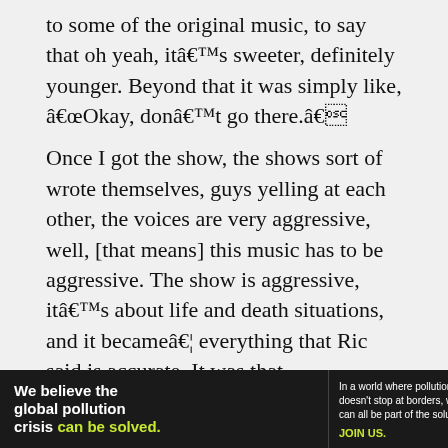to some of the original music, to say that oh yeah, itâs sweeter, definitely younger. Beyond that it was simply like, âOkay, donât go there.â
Once I got the show, the shows sort of wrote themselves, guys yelling at each other, the voices are very aggressive, well, [that means] this music has to be aggressive. The show is aggressive, itâs about life and death situations, and it becameâ¦ everything that Ric said is accurate. It was that.
Now saying that it BECAME that in comparison to something else, that I donât know because I only know the more aggressive
[Figure (infographic): Pure Earth advertisement banner: black background with text 'We believe the global pollution crisis can be solved.' and tagline 'In a world where pollution doesn't stop at borders, we can all be part of the solution. JOIN US.' with Pure Earth logo (orange diamond with downward arrow)]